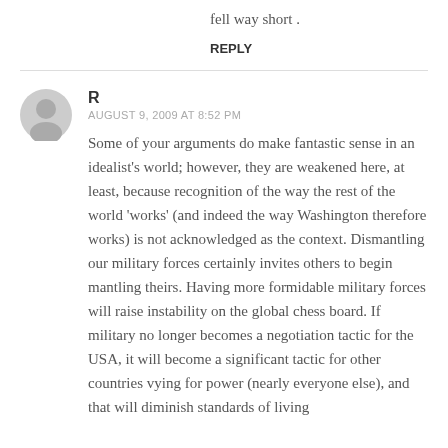fell way short .
REPLY
R
AUGUST 9, 2009 AT 8:52 PM
Some of your arguments do make fantastic sense in an idealist's world; however, they are weakened here, at least, because recognition of the way the rest of the world 'works' (and indeed the way Washington therefore works) is not acknowledged as the context. Dismantling our military forces certainly invites others to begin mantling theirs. Having more formidable military forces will raise instability on the global chess board. If military no longer becomes a negotiation tactic for the USA, it will become a significant tactic for other countries vying for power (nearly everyone else), and that will diminish standards of living